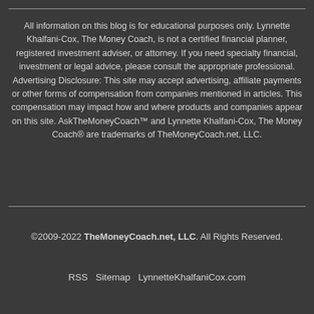All information on this blog is for educational purposes only. Lynnette Khalfani-Cox, The Money Coach, is not a certified financial planner, registered investment adviser, or attorney. If you need specialty financial, investment or legal advice, please consult the appropriate professional. Advertising Disclosure: This site may accept advertising, affiliate payments or other forms of compensation from companies mentioned in articles. This compensation may impact how and where products and companies appear on this site. AskTheMoneyCoach™ and Lynnette Khalfani-Cox, The Money Coach® are trademarks of TheMoneyCoach.net, LLC.
©2009-2022 TheMoneyCoach.net, LLC. All Rights Reserved.
RSS Sitemap LynnetteKhalfaniCox.com